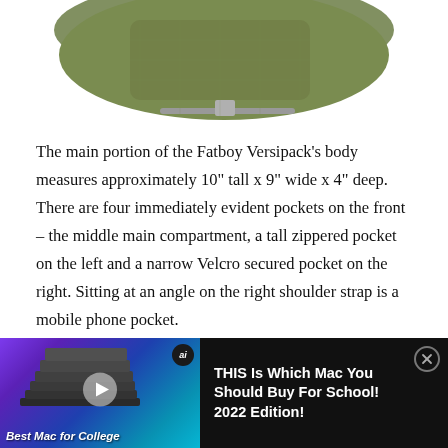[Figure (photo): Top portion of olive green Fatboy Versipack bag shown from above on white background]
The main portion of the Fatboy Versipack’s body measures approximately 10” tall x 9″ wide x 4″ deep. There are four immediately evident pockets on the front – the middle main compartment, a tall zippered pocket on the left and a narrow Velcro secured pocket on the right. Sitting at an angle on the right shoulder strap is a mobile phone pocket.
[Figure (photo): Bottom portion of olive green bag visible at top of ad area]
[Figure (screenshot): Video advertisement: 'THIS Is Which Mac You Should Buy For School! 2022 Edition!' with stack of MacBooks thumbnail and 'Best Mac for College' label]